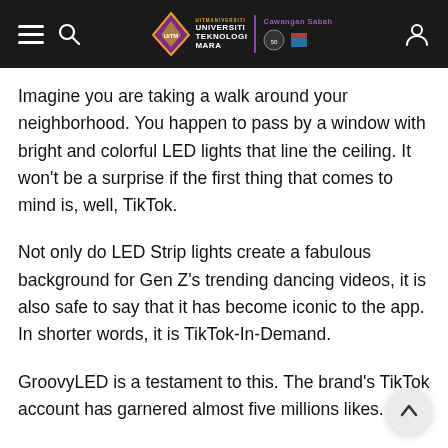Universiti Teknologi MARA — Cawangan Sabah
Imagine you are taking a walk around your neighborhood. You happen to pass by a window with bright and colorful LED lights that line the ceiling. It won't be a surprise if the first thing that comes to mind is, well, TikTok.
Not only do LED Strip lights create a fabulous background for Gen Z's trending dancing videos, it is also safe to say that it has become iconic to the app. In shorter words, it is TikTok-In-Demand.
GroovyLED is a testament to this. The brand's TikTok account has garnered almost five millions likes.